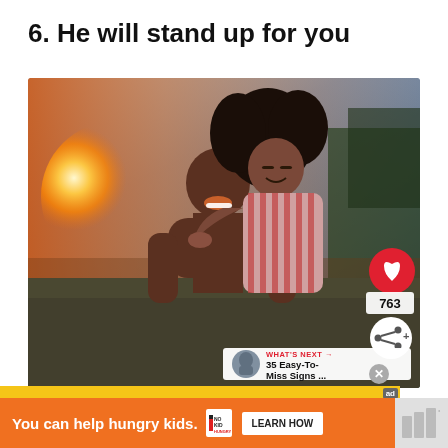6. He will stand up for you
[Figure (photo): A couple embracing outdoors near water at sunset. A smiling bald man and a woman with curly hair leaning over his shoulder, wearing a striped shirt. Overlay UI elements: a red heart button with count 763, a share button, and a 'What's Next' card showing '35 Easy-To-Miss Signs ...']
[Figure (infographic): Advertisement banner: orange background with text 'You can help hungry kids.' No Kid Hungry logo and 'LEARN HOW' button. Ad badge and close button visible.]